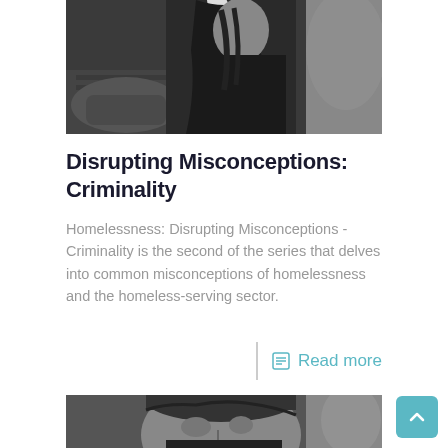[Figure (photo): Black and white photograph of a woman with long dark hair looking downward, with a bag beside her, suggesting homelessness]
Disrupting Misconceptions: Criminality
Homelessness: Disrupting Misconceptions - Criminality is the second of the series that delves into common misconceptions of homelessness and the homeless-serving sector.
Read more
[Figure (photo): Black and white close-up photograph of an older man wearing a beanie hat, looking upward]